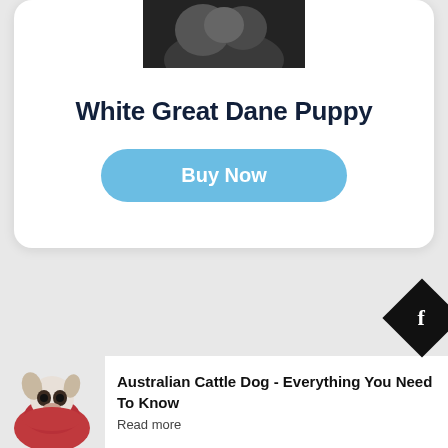[Figure (photo): Partial photo of a dog (white/dark tones) at top of card]
White Great Dane Puppy
Buy Now
[Figure (logo): Black diamond-shaped Facebook badge with letter 'f' in white]
Related Post
[Figure (photo): Small dog wearing a red sweater/scarf]
Australian Cattle Dog - Everything You Need To Know
Read more